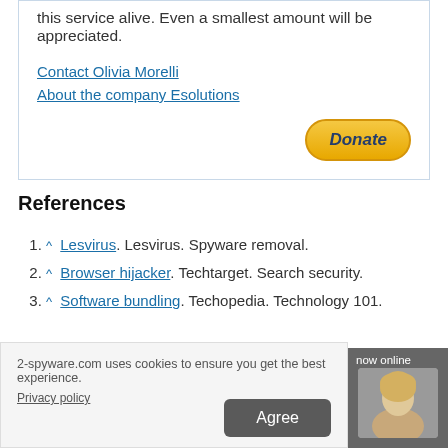this service alive. Even a smallest amount will be appreciated.
Contact Olivia Morelli
About the company Esolutions
[Figure (other): Donate button (PayPal-style golden rounded button with bold italic text)]
References
^ Lesvirus. Lesvirus. Spyware removal.
^ Browser hijacker. Techtarget. Search security.
^ Software bundling. Techopedia. Technology 101.
2-spyware.com uses cookies to ensure you get the best experience.
Privacy policy
Agree
now online